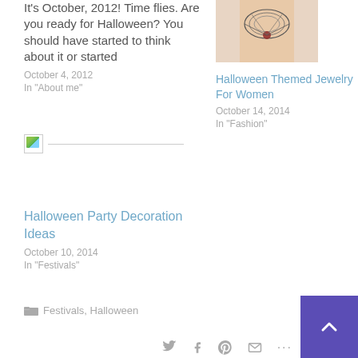It's October, 2012! Time flies. Are you ready for Halloween? You should have started to think about it or started
October 4, 2012
In "About me"
[Figure (illustration): Broken image placeholder with horizontal divider line]
[Figure (photo): Woman wearing Halloween themed necklace jewelry, cropped to torso/neck area]
Halloween Themed Jewelry For Women
October 14, 2014
In "Fashion"
Halloween Party Decoration Ideas
October 10, 2014
In "Festivals"
Festivals, Halloween
[Figure (illustration): Back to top button - purple square with white up arrow]